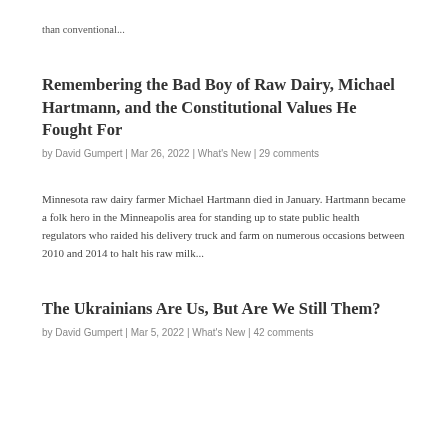than conventional...
Remembering the Bad Boy of Raw Dairy, Michael Hartmann, and the Constitutional Values He Fought For
by David Gumpert | Mar 26, 2022 | What's New | 29 comments
Minnesota raw dairy farmer Michael Hartmann died in January. Hartmann became a folk hero in the Minneapolis area for standing up to state public health regulators who raided his delivery truck and farm on numerous occasions between 2010 and 2014 to halt his raw milk...
The Ukrainians Are Us, But Are We Still Them?
by David Gumpert | Mar 5, 2022 | What's New | 42 comments